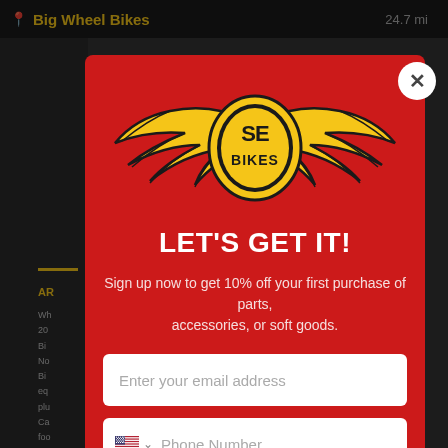Big Wheel Bikes  24.7 mi
[Figure (logo): SE Bikes winged logo — yellow wings with black outline flanking a central oval badge with 'SE BIKES' text, on a red background]
LET'S GET IT!
Sign up now to get 10% off your first purchase of parts, accessories, or soft goods.
Enter your email address
Phone Number